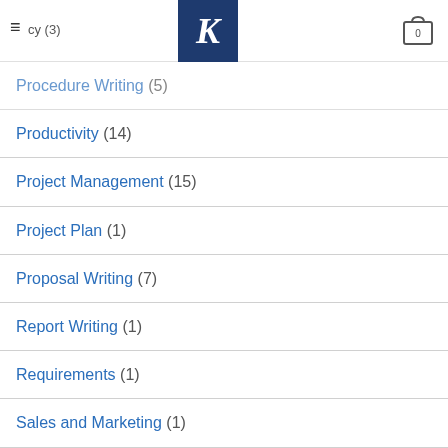≡ cy (3) [K logo] [cart 0]
Procedure Writing (5)
Productivity (14)
Project Management (15)
Project Plan (1)
Proposal Writing (7)
Report Writing (1)
Requirements (1)
Sales and Marketing (1)
Social Media (10)
Software Development (8)